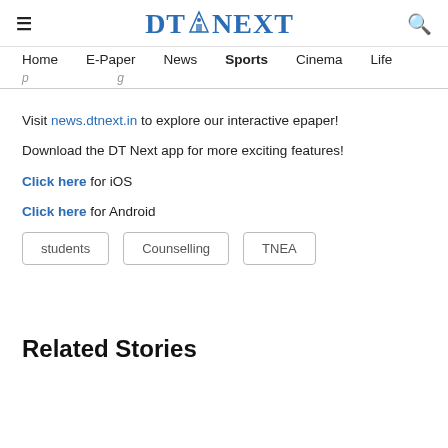DT NEXT — navigation header with Home, E-Paper, News, Sports, Cinema, Life
Visit news.dtnext.in to explore our interactive epaper!
Download the DT Next app for more exciting features!
Click here for iOS
Click here for Android
students   Counselling   TNEA
Related Stories